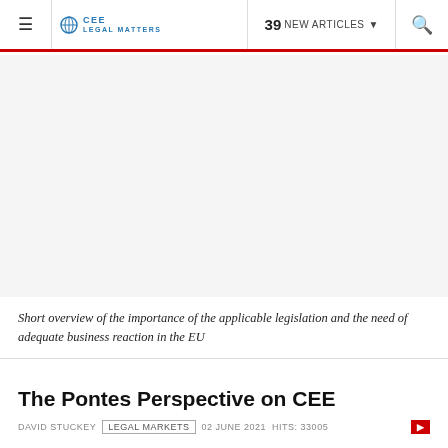≡  CEE Legal Matters  39 NEW ARTICLES ▾  🔍
[Figure (other): Advertisement or article image placeholder, large white/light gray area]
Short overview of the importance of the applicable legislation and the need of adequate business reaction in the EU
The Pontes Perspective on CEE
DAVID STUCKEY  LEGAL MARKETS  02 JUNE 2021  HITS: 33005